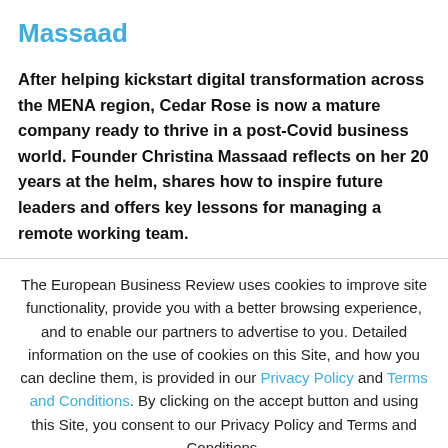Massaad
After helping kickstart digital transformation across the MENA region, Cedar Rose is now a mature company ready to thrive in a post-Covid business world. Founder Christina Massaad reflects on her 20 years at the helm, shares how to inspire future leaders and offers key lessons for managing a remote working team.
The European Business Review uses cookies to improve site functionality, provide you with a better browsing experience, and to enable our partners to advertise to you. Detailed information on the use of cookies on this Site, and how you can decline them, is provided in our Privacy Policy and Terms and Conditions. By clicking on the accept button and using this Site, you consent to our Privacy Policy and Terms and Conditions.
ACCEPT